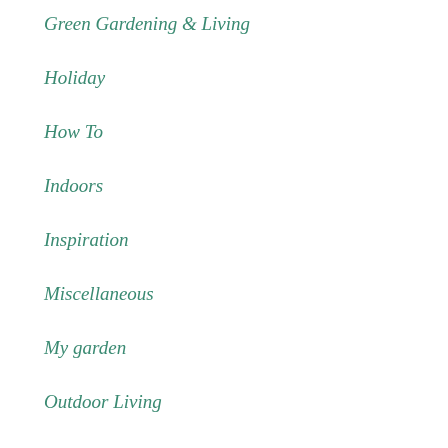Green Gardening & Living
Holiday
How To
Indoors
Inspiration
Miscellaneous
My garden
Outdoor Living